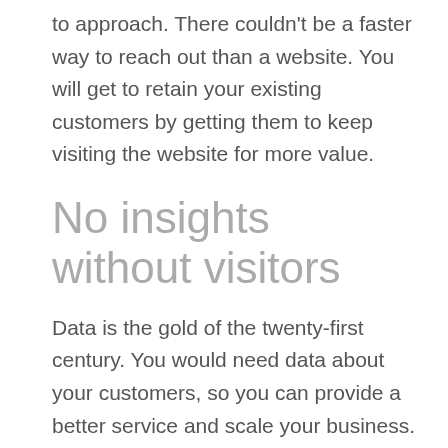to approach. There couldn't be a faster way to reach out than a website. You will get to retain your existing customers by getting them to keep visiting the website for more value.
No insights without visitors
Data is the gold of the twenty-first century. You would need data about your customers, so you can provide a better service and scale your business. All big websites are always under scrutiny because of so much user data they collect. They are investing so much and even taking risks because they understand the value of data.
You also need to collect user data and study their behaviour if you want to grow in a competitive market. However, it won't be possible if you are not getting any